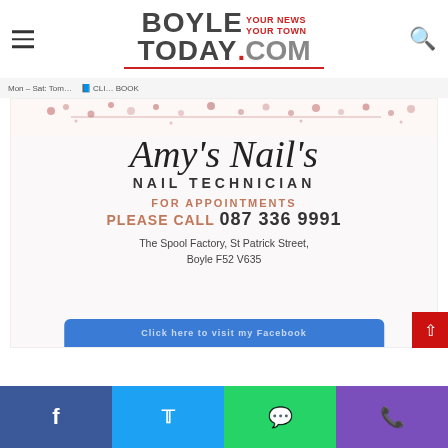BoyleToday.com — YOUR NEWS YOUR TOWN
[Figure (illustration): Amy's Nails advertisement. Script cursive title 'Amy's Nails', subtitle 'NAIL TECHNICIAN', 'FOR APPOINTMENTS PLEASE CALL 087 336 9991', address 'The Spool Factory, St Patrick Street, Boyle F52 V635'. Rose gold glitter floral decoration at top. Blue button at bottom.]
Social share buttons: Facebook, Twitter, WhatsApp, Phone